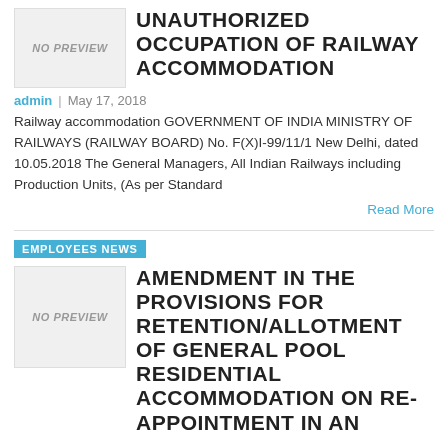[Figure (other): NO PREVIEW placeholder image box for first article]
UNAUTHORIZED OCCUPATION OF RAILWAY ACCOMMODATION
admin  |  May 17, 2018
Railway accommodation GOVERNMENT OF INDIA MINISTRY OF RAILWAYS (RAILWAY BOARD) No. F(X)I-99/11/1 New Delhi, dated 10.05.2018 The General Managers, All Indian Railways including Production Units, (As per Standard
Read More
EMPLOYEES NEWS
[Figure (other): NO PREVIEW placeholder image box for second article]
AMENDMENT IN THE PROVISIONS FOR RETENTION/ALLOTMENT OF GENERAL POOL RESIDENTIAL ACCOMMODATION ON RE-APPOINTMENT IN AN